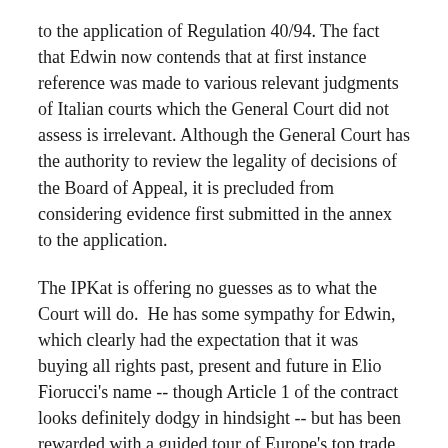to the application of Regulation 40/94. The fact that Edwin now contends that at first instance reference was made to various relevant judgments of Italian courts which the General Court did not assess is irrelevant. Although the General Court has the authority to review the legality of decisions of the Board of Appeal, it is precluded from considering evidence first submitted in the annex to the application.
The IPKat is offering no guesses as to what the Court will do.  He has some sympathy for Edwin, which clearly had the expectation that it was buying all rights past, present and future in Elio Fiorucci's name -- though Article 1 of the contract looks definitely dodgy in hindsight -- but has been rewarded with a guided tour of Europe's top trade mark litigation venues instead.  Merpel notes the respect and reverence with which the writings of Italian academic are treated as sources of law, and hopes that one day the opinions of their English counterparts will be accorded similar status -- at least when it comes to